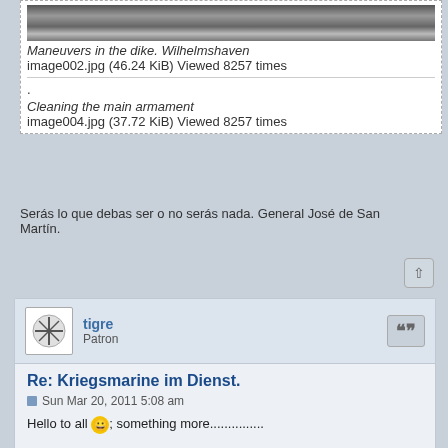[Figure (photo): Historical black and white photo strip - Maneuvers in the dike, Wilhelmshaven]
Maneuvers in the dike. Wilhelmshaven
image002.jpg (46.24 KiB) Viewed 8257 times
.
Cleaning the main armament
image004.jpg (37.72 KiB) Viewed 8257 times
Serás lo que debas ser o no serás nada. General José de San Martín.
tigre
Patron
Re: Kriegsmarine im Dienst.
Sun Mar 20, 2011 5:08 am
Hello to all 😀; something more...............
Aboard the Admiral Hipper.
Source: Album Kreuzer Admiral Hipper. eBay auction. Jueves, 13 de Noviembre de 2008, 16:56:22
Cheers. Raúl M 😎.
ATTACHMENTS